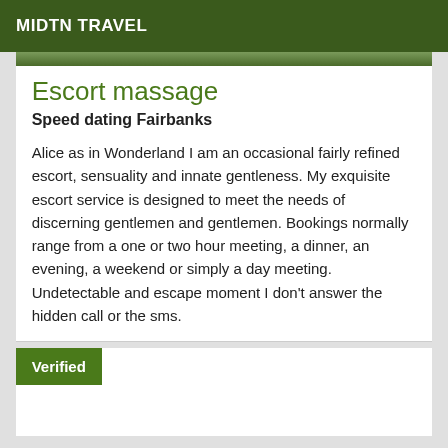MIDTN TRAVEL
[Figure (photo): Partial photo strip visible at top of card]
Escort massage
Speed dating Fairbanks
Alice as in Wonderland I am an occasional fairly refined escort, sensuality and innate gentleness. My exquisite escort service is designed to meet the needs of discerning gentlemen and gentlemen. Bookings normally range from a one or two hour meeting, a dinner, an evening, a weekend or simply a day meeting. Undetectable and escape moment I don't answer the hidden call or the sms.
Verified